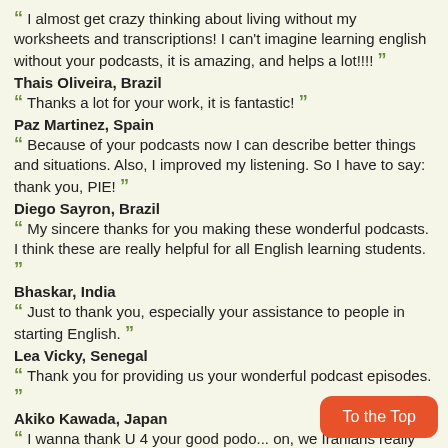“ I almost get crazy thinking about living without my worksheets and transcriptions! I can't imagine learning english without your podcasts, it is amazing, and helps a lot!!!! ”
Thais Oliveira, Brazil
“ Thanks a lot for your work, it is fantastic! ”
Paz Martinez, Spain
“ Because of your podcasts now I can describe better things and situations. Also, I improved my listening. So I have to say: thank you, PIE! ”
Diego Sayron, Brazil
“ My sincere thanks for you making these wonderful podcasts. I think these are really helpful for all English learning students. ”
Bhaskar, India
“ Just to thank you, especially your assistance to people in starting English. ”
Lea Vicky, Senegal
“ Thank you for providing us your wonderful podcast episodes. ”
Akiko Kawada, Japan
“ I wanna thank U 4 your good podo... on, we Iranians really enjoy our teaching and your